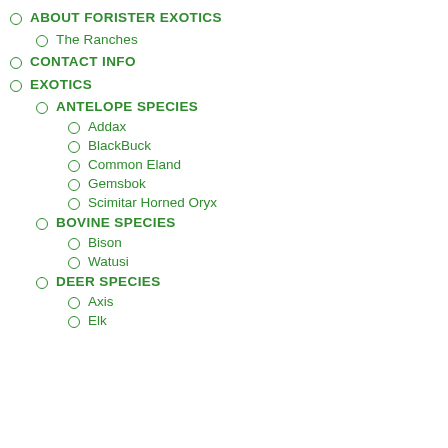ABOUT FORISTER EXOTICS
The Ranches
CONTACT INFO
EXOTICS
ANTELOPE SPECIES
Addax
BlackBuck
Common Eland
Gemsbok
Scimitar Horned Oryx
BOVINE SPECIES
Bison
Watusi
DEER SPECIES
Axis
Elk